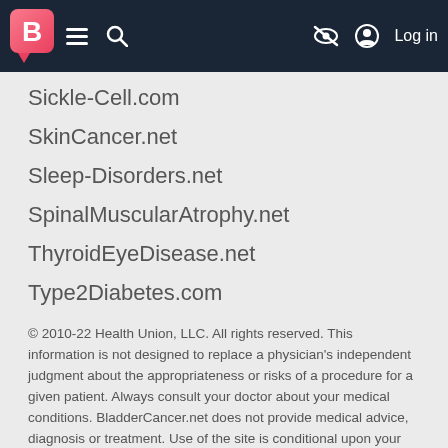[Navigation bar with BladderCancer.net logo, hamburger menu, search icon, eye-slash icon, and Log in]
Sickle-Cell.com
SkinCancer.net
Sleep-Disorders.net
SpinalMuscularAtrophy.net
ThyroidEyeDisease.net
Type2Diabetes.com
© 2010-22 Health Union, LLC. All rights reserved. This information is not designed to replace a physician's independent judgment about the appropriateness or risks of a procedure for a given patient. Always consult your doctor about your medical conditions. BladderCancer.net does not provide medical advice, diagnosis or treatment. Use of the site is conditional upon your acceptance of our terms of use.
This site is protected by reCAPTCHA and the Google Privacy